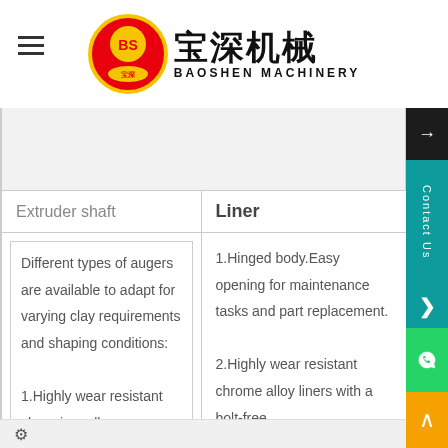[Figure (logo): Baoshen Machinery logo: red and gold circular emblem with Chinese characters, followed by Chinese text '宝深机械' and English text 'BAOSHEN MACHINERY']
| Extruder shaft | Liner |
| --- | --- |
| Different types of augers are available to adapt for varying clay requirements and shaping conditions:
1.Highly wear resistant chromium alloy | 1.Hinged body.Easy opening for maintenance tasks and part replacement.
2.Highly wear resistant chrome alloy liners with a bolt-free system preventing air |